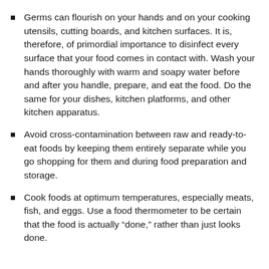Germs can flourish on your hands and on your cooking utensils, cutting boards, and kitchen surfaces. It is, therefore, of primordial importance to disinfect every surface that your food comes in contact with. Wash your hands thoroughly with warm and soapy water before and after you handle, prepare, and eat the food. Do the same for your dishes, kitchen platforms, and other kitchen apparatus.
Avoid cross-contamination between raw and ready-to-eat foods by keeping them entirely separate while you go shopping for them and during food preparation and storage.
Cook foods at optimum temperatures, especially meats, fish, and eggs. Use a food thermometer to be certain that the food is actually “done,” rather than just looks done.